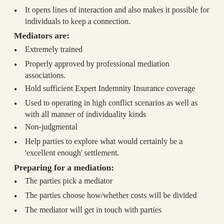It opens lines of interaction and also makes it possible for individuals to keep a connection.
Mediators are:
Extremely trained
Properly approved by professional mediation associations.
Hold sufficient Expert Indemnity Insurance coverage
Used to operating in high conflict scenarios as well as with all manner of individuality kinds
Non-judgmental
Help parties to explore what would certainly be a 'excellent enough' settlement.
Preparing for a mediation:
The parties pick a mediator
The parties choose how/whether costs will be divided
The mediator will get in touch with parties